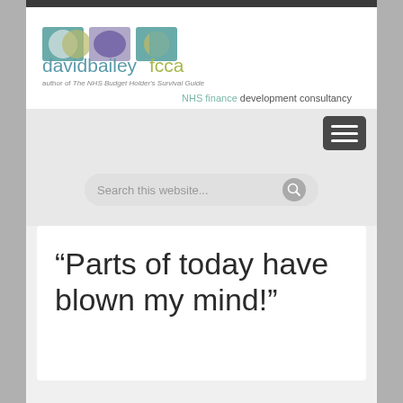[Figure (logo): David Bailey FCCA logo with colored circle icon and text]
author of The NHS Budget Holder's Survival Guide
NHS finance development consultancy
[Figure (other): Hamburger menu button (three horizontal lines)]
[Figure (other): Search box with placeholder text 'Search this website...']
“Parts of today have blown my mind!”